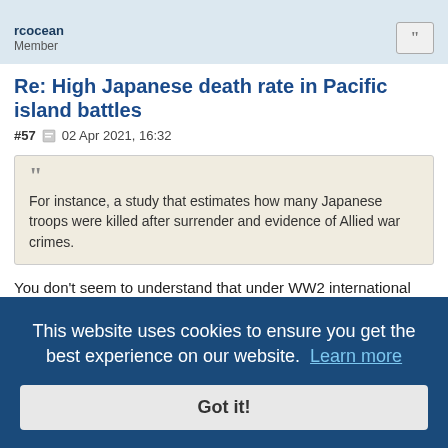rcocean
Member
Re: High Japanese death rate in Pacific island battles
#57  02 Apr 2021, 16:32
For instance, a study that estimates how many Japanese troops were killed after surrender and evidence of Allied war crimes.
You don't seem to understand that under WW2 international law, individual marines refusing an offer of surrender in COMBAT is NOT a war crime. You are not a PRISONER until the enemy ACCEPTS your surrender. And BTW it is ALSO not a "War crime" to let enemy sailors drown, there is no obligation under international law to stress over where you sunk a warship
This website uses cookies to ensure you get the best experience on our website. Learn more
Got it!